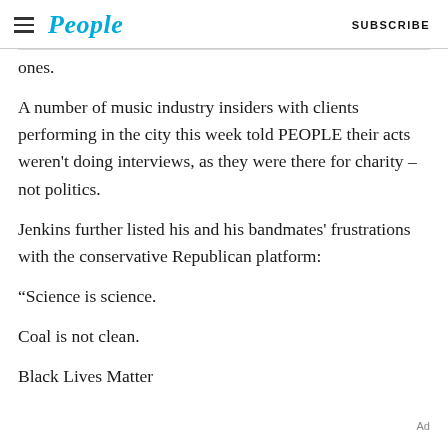People | SUBSCRIBE
ones.
A number of music industry insiders with clients performing in the city this week told PEOPLE their acts weren't doing interviews, as they were there for charity – not politics.
Jenkins further listed his and his bandmates' frustrations with the conservative Republican platform:
“Science is science.
Coal is not clean.
Black Lives Matter